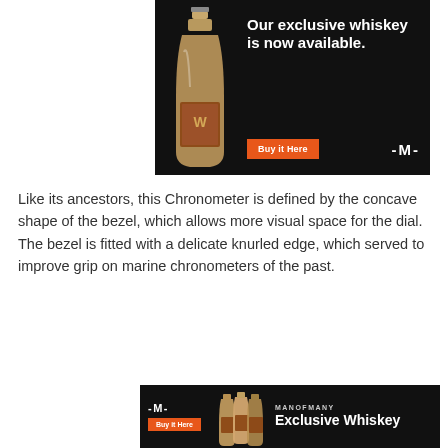[Figure (photo): Advertisement banner with black background showing a whiskey bottle on the left, bold white text 'Our exclusive whiskey is now available.' and an orange 'Buy it Here' button with an M logo]
Like its ancestors, this Chronometer is defined by the concave shape of the bezel, which allows more visual space for the dial. The bezel is fitted with a delicate knurled edge, which served to improve grip on marine chronometers of the past.
[Figure (photo): Bottom advertisement banner with black background showing M logo, Buy it Here orange button, whiskey bottles image, MANOFMANY label and 'Exclusive Whiskey' text]